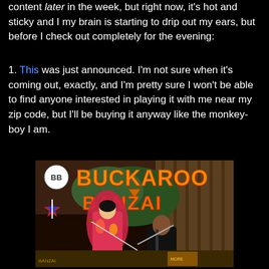content later in the week, but right now, it's hot and sticky and I my brain is starting to drip out my ears, but before I check out completely for the evening:
1. This was just announced. I'm not sure when it's coming out, exactly, and I'm pretty sure I won't be able to find anyone interested in playing it with me near my zip code, but I'll be buying it anyway like the monkey-boy I am.
[Figure (photo): Buckaroo Banzai comic book cover showing a samurai woman and a man in a suit fighting with swords, with 'BUCKAROO BANZAI' text in large orange letters on a red/black background, with a circular logo in the top left and a star/rocket badge on the left side.]